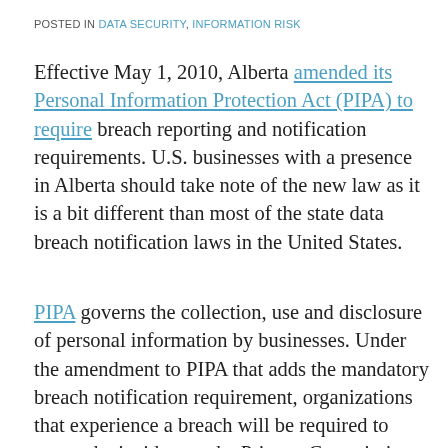POSTED IN DATA SECURITY, INFORMATION RISK
Effective May 1, 2010, Alberta amended its Personal Information Protection Act (PIPA) to require breach reporting and notification requirements. U.S. businesses with a presence in Alberta should take note of the new law as it is a bit different than most of the state data breach notification laws in the United States.
PIPA governs the collection, use and disclosure of personal information by businesses. Under the amendment to PIPA that adds the mandatory breach notification requirement, organizations that experience a breach will be required to report the incident to the Privacy Commissioner where there exists “a real risk of significant harm” to an individual.